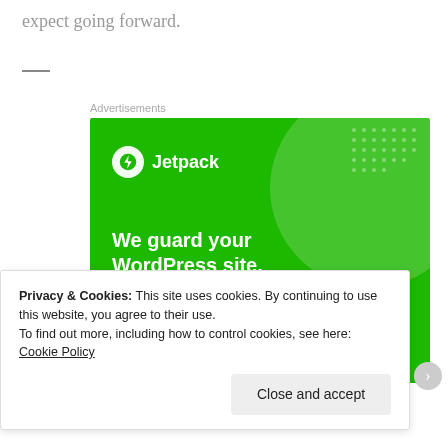expect going forward.
[Figure (illustration): Jetpack advertisement banner with green background. Logo with lightning bolt icon and 'Jetpack' text. Headlines: 'We guard your WordPress site. You run your business.' Button: 'Secure Your Site']
Privacy & Cookies: This site uses cookies. By continuing to use this website, you agree to their use. To find out more, including how to control cookies, see here: Cookie Policy
Close and accept